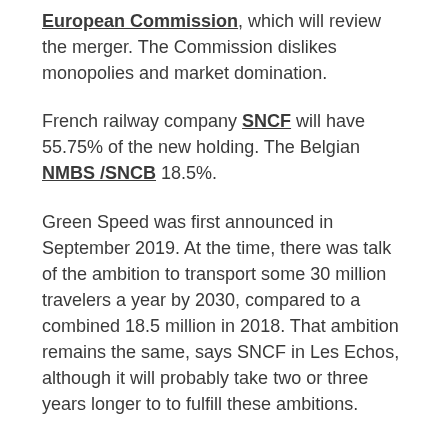European Commission, which will review the merger. The Commission dislikes monopolies and market domination.
French railway company SNCF will have 55.75% of the new holding. The Belgian NMBS /SNCB 18.5%.
Green Speed was first announced in September 2019. At the time, there was talk of the ambition to transport some 30 million travelers a year by 2030, compared to a combined 18.5 million in 2018. That ambition remains the same, says SNCF in Les Echos, although it will probably take two or three years longer to to fulfill these ambitions.